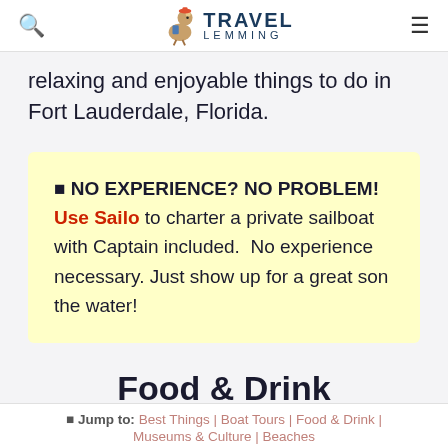Travel Lemming
relaxing and enjoyable things to do in Fort Lauderdale, Florida.
⬛ NO EXPERIENCE? NO PROBLEM! Use Sailo to charter a private sailboat with Captain included.  No experience necessary.  Just show up for a great son the water!
Food & Drink
⬛ Jump to: Best Things | Boat Tours | Food & Drink | Museums & Culture | Beaches